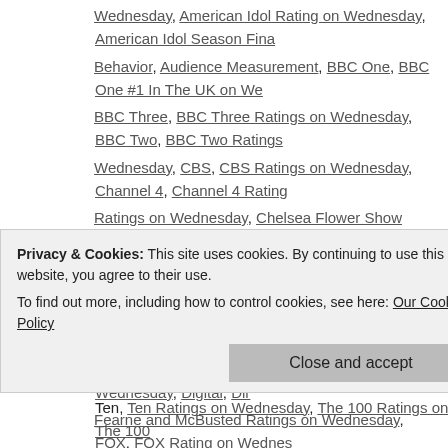Wednesday, American Idol Rating on Wednesday, American Idol Season Fina... Behavior, Audience Measurement, BBC One, BBC One #1 In The UK on We... BBC Three, BBC Three Ratings on Wednesday, BBC Two, BBC Two Ratings... Wednesday, CBS, CBS Ratings on Wednesday, Channel 4, Channel 4 Rating... Ratings on Wednesday, Chelsea Flower Show ratings on Wednesday, Chica... season finale ratings, CNA | SOPHIS, Coast Australia Ratings in the UK on W... Wednesday, Data, David Letterman Ratings on Wednesday, Del Boys & Dea... & Dealers Ratings on Wednesday, Derek Ratings on Wednesday, Digital, Dir... Fearne and McBusted Ratings on Wednesday, FOX, FOX Rating on Wednes... Part 1 Ratings on Wednesday, Home and Away Ratings on Wednesday, Hou... 2, ITV 2 Ratings on Wednesday, ITV Ratings on Wednesday, Jack Benny, Ji... King's Cross: Inferno on the Tube Ratings on Wednesday, Lance Hanish, La... Order: SVU Ratings on Wednesday, Law & Order: SVU season finale ratings... Wednesday, Media, Media Analysis, Media Management, Million Dollar Minut... Ratings on Wednesday, Mobile, Modern Family #1 on Wednesday, Modern F... premiere ratings, Motive Ratings on Wednesday, NBA Western Conference F... NBC Ratings on Wednesday, NCIS Ratings in the UK on Wednesday, Nightli... News 6:30 Ratings on Wednesday, Nine News Ratings on Wednesday, Nine...
Privacy & Cookies: This site uses cookies. By continuing to use this website, you agree to their use.
To find out more, including how to control cookies, see here: Our Cookie Policy
Ten, Ten Ratings on Wednesday, The 100 Ratings on Wednesday, The 100...